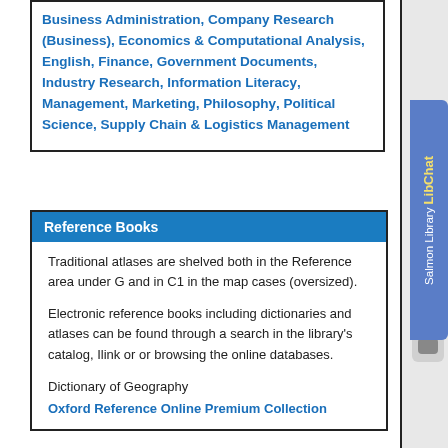Business Administration, Company Research (Business), Economics & Computational Analysis, English, Finance, Government Documents, Industry Research, Information Literacy, Management, Marketing, Philosophy, Political Science, Supply Chain & Logistics Management
Reference Books
Traditional atlases are shelved both in the Reference area under G and in C1 in the map cases (oversized).
Electronic reference books including dictionaries and atlases can be found through a search in the library's catalog, Ilink or or browsing the online databases.
Dictionary of Geography
Oxford Reference Online Premium Collection